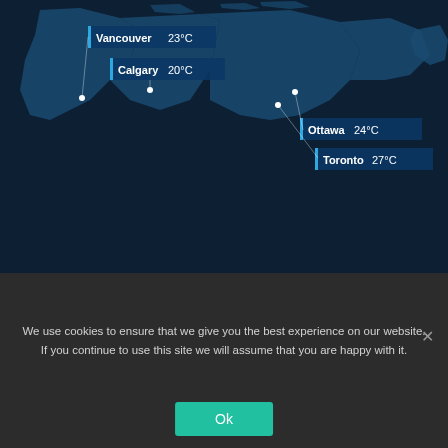[Figure (map): Map of Canada showing city temperature labels: Vancouver 23°C, Calgary 20°C, Ottawa 24°C, Toronto 27°C]
Find Your Way Around
Homepage
About
Canada Immigration
We use cookies to ensure that we give you the best experience on our website. If you continue to use this site we will assume that you are happy with it.